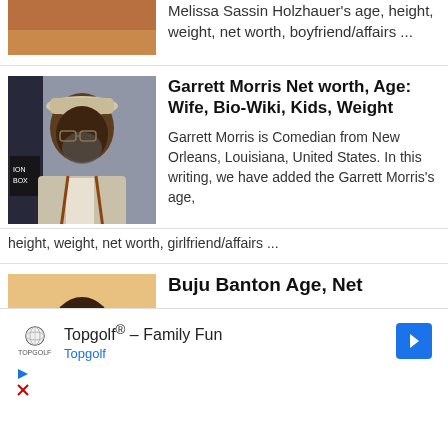Melissa Sassin Holzhauer's age, height, weight, net worth, boyfriend/affairs ...
[Figure (photo): Photo of Garrett Morris wearing a flat cap and suit with suspenders]
Garrett Morris Net worth, Age: Wife, Bio-Wiki, Kids, Weight
Garrett Morris is Comedian from New Orleans, Louisiana, United States. In this writing, we have added the Garrett Morris's age, height, weight, net worth, girlfriend/affairs ...
[Figure (photo): Partial photo of person with brownish background - Buju Banton article]
Buju Banton Age, Net
[Figure (screenshot): Advertisement for Topgolf - Family Fun by Topgolf with navigation arrow icon]